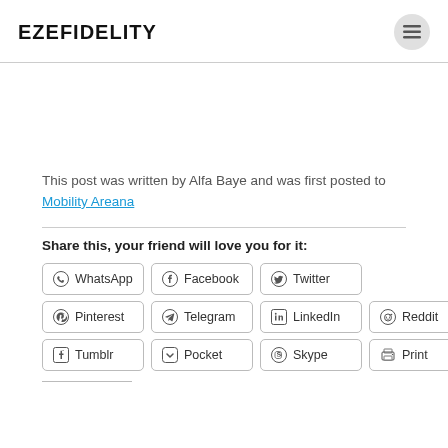EZEFIDELITY
This post was written by Alfa Baye and was first posted to Mobility Areana
Share this, your friend will love you for it:
WhatsApp Facebook Twitter Pinterest Telegram LinkedIn Reddit Tumblr Pocket Skype Print